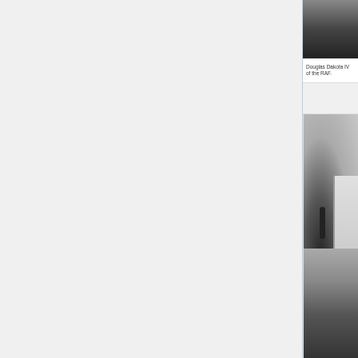[Figure (photo): Top portion of a black and white photograph, partially visible, showing dark background content — appears to be part of the Douglas Dakota IV RAF aircraft photo series.]
Douglas Dakota IV of the RAF.
[Figure (photo): Black and white historical photograph showing a propeller aircraft (likely a Douglas Dakota) with a crowd of people in military and civilian clothing standing in front of it on an airfield.]